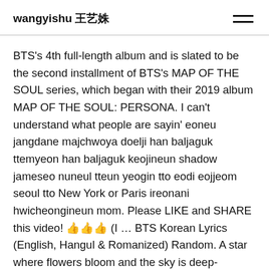wangyishu 王艺姝
BTS's 4th full-length album and is slated to be the second installment of BTS's MAP OF THE SOUL series, which began with their 2019 album MAP OF THE SOUL: PERSONA. I can't understand what people are sayin' eoneu jangdane majchwoya doelji han baljaguk ttemyeon han baljaguk keojineun shadow jameseo nuneul tteun yeogin tto eodi eojjeom seoul tto New York or Paris ireonani hwicheongineun mom. Please LIKE and SHARE this video! 👍👍👍 (I … BTS Korean Lyrics (English, Hangul & Romanized) Random. A star where flowers bloom and the sky is deep-